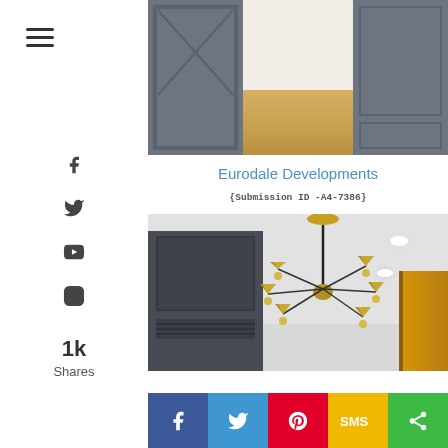[Figure (photo): Gray barn-style door and gray kitchen cabinets with hardwood floor visible in center]
Eurodale Developments
(Submission ID -A4-7386)
[Figure (photo): Interior room with white ceiling, dark gray cabinets with vent, gold/brass multi-arm chandelier hanging from ceiling, and gold trim on right side]
1k Shares  [Facebook] [Twitter] [Pinterest] [SMS] [Share]